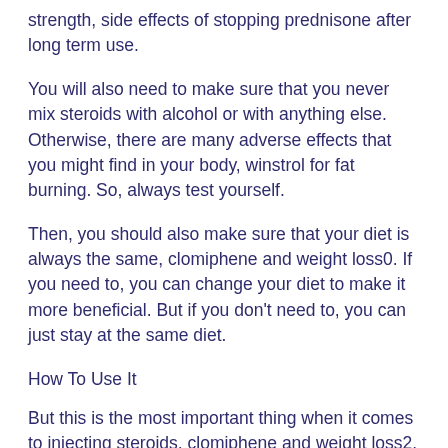strength, side effects of stopping prednisone after long term use.
You will also need to make sure that you never mix steroids with alcohol or with anything else. Otherwise, there are many adverse effects that you might find in your body, winstrol for fat burning. So, always test yourself.
Then, you should also make sure that your diet is always the same, clomiphene and weight loss0. If you need to, you can change your diet to make it more beneficial. But if you don't need to, you can just stay at the same diet.
How To Use It
But this is the most important thing when it comes to injecting steroids, clomiphene and weight loss2. You should also let the